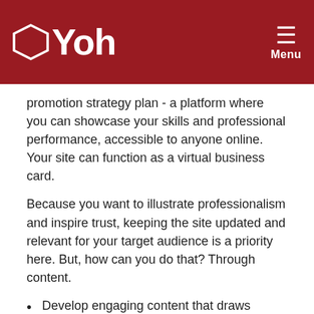Yoh | Menu
promotion strategy plan - a platform where you can showcase your skills and professional performance, accessible to anyone online. Your site can function as a virtual business card.
Because you want to illustrate professionalism and inspire trust, keeping the site updated and relevant for your target audience is a priority here. But, how can you do that? Through content.
Develop engaging content that draws visitors to your platform, but also keeps them coming back, and update the site with fresh updates regularly.
Focus on your audience's interest and address relevant topics
Maintain quality by creating strong, interesting and readable content, free of grammar and spelling